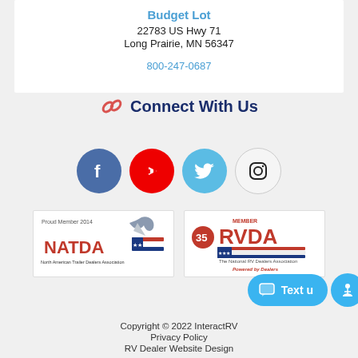Budget Lot
22783 US Hwy 71
Long Prairie, MN 56347
800-247-0687
Connect With Us
[Figure (infographic): Social media icons: Facebook (blue circle), YouTube (red circle), Twitter (light blue circle), Instagram (white circle with camera icon)]
[Figure (logo): NATDA - North American Trailer Dealers Association Proud Member 2014 logo]
[Figure (logo): RVDA - The National RV Dealers Association Member 35 Powered by Dealers logo]
Copyright © 2022 InteractRV
Privacy Policy
RV Dealer Website Design